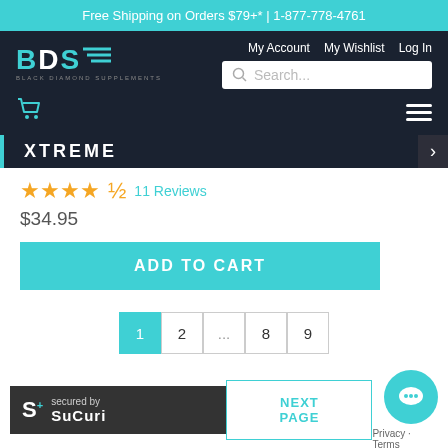Free Shipping on Orders $79+* | 1-877-778-4761
[Figure (logo): BDS - Black Diamond Supplements logo with teal and white lettering on dark background]
My Account   My Wishlist   Log In
Search...
XTREME
★★★★½  11 Reviews
$34.95
ADD TO CART
1  2  ...  8  9
NEXT PAGE
[Figure (logo): Sucuri S+ secured by sucuri badge]
Privacy - Terms